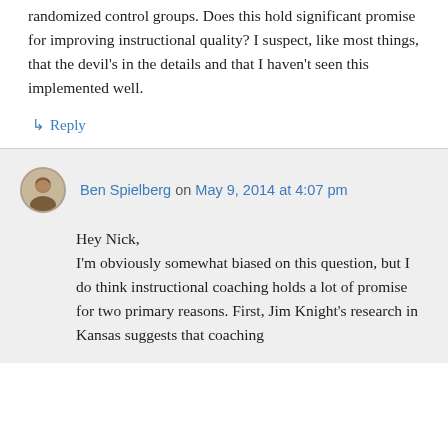randomized control groups. Does this hold significant promise for improving instructional quality? I suspect, like most things, that the devil's in the details and that I haven't seen this implemented well.
↳ Reply
Ben Spielberg on May 9, 2014 at 4:07 pm
Hey Nick,
I'm obviously somewhat biased on this question, but I do think instructional coaching holds a lot of promise for two primary reasons. First, Jim Knight's research in Kansas suggests that coaching